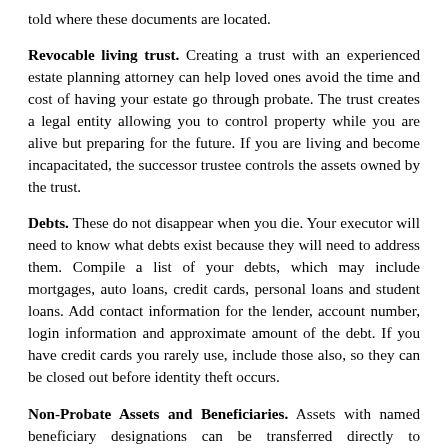told where these documents are located.
Revocable living trust. Creating a trust with an experienced estate planning attorney can help loved ones avoid the time and cost of having your estate go through probate. The trust creates a legal entity allowing you to control property while you are alive but preparing for the future. If you are living and become incapacitated, the successor trustee controls the assets owned by the trust.
Debts. These do not disappear when you die. Your executor will need to know what debts exist because they will need to address them. Compile a list of your debts, which may include mortgages, auto loans, credit cards, personal loans and student loans. Add contact information for the lender, account number, login information and approximate amount of the debt. If you have credit cards you rarely use, include those also, so they can be closed out before identity theft occurs.
Non-Probate Assets and Beneficiaries. Assets with named beneficiary designations can be transferred directly to beneficiaries. However, this does not happen automatically. Your executor will need to provide beneficiaries with the information for the assets, including the name of the insurance